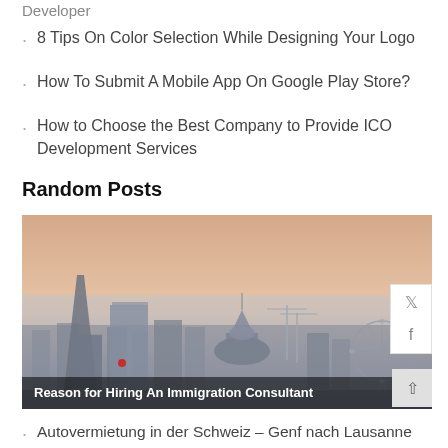8 Tips On Color Selection While Designing Your Logo
How To Submit A Mobile App On Google Play Store?
How to Choose the Best Company to Provide ICO Development Services
Random Posts
[Figure (photo): City skyline at dusk showing skyscrapers, a domed cathedral, a ferris wheel (London Eye), and cranes in the background. Hazy orange-pink sky.]
Reason for Hiring An Immigration Consultant
Autovermietung in der Schweiz – Genf nach Lausanne